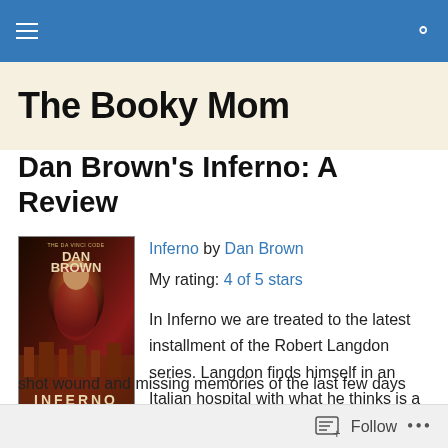The Booky Mom
Dan Brown’s Inferno: A Review
[Figure (illustration): Book cover of Inferno by Dan Brown, showing a red-robed figure against a dark background with city scene below, title INFERNO at bottom]
Inferno by Dan Brown
My rating: 4 of 5 stars

In Inferno we are treated to the latest installment of the Robert Langdon series. Langdon finds himself in an Italian hospital with what he thinks is a gun shot wound and missing memories of the last few days